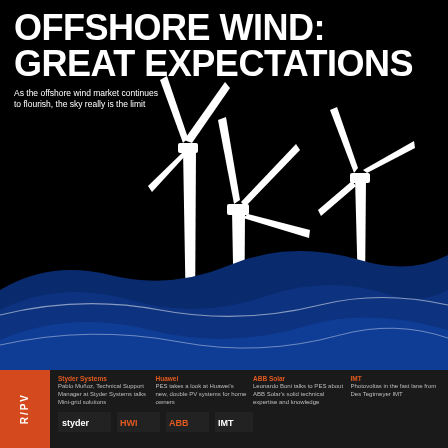OFFSHORE WIND: GREAT EXPECTATIONS
As the offshore wind market continues to flourish, the sky really is the limit
[Figure (illustration): Illustration of three white offshore wind turbines against a black sky, with dark blue stylized ocean waves in the foreground]
Styder Systems
Pablo Muñoz, Technical Support Manager at Styder Systems talks Mini-grid solutions
Huawei
PES takes a look at Huawei's new, double PV systems for home owners
ABB Solar
Leonardo Boni talks to PES about ABB Solar's solid technical expertise and knowledge
IMT
Photovoltas in the fast lane from Des Tegtmeyer IMT